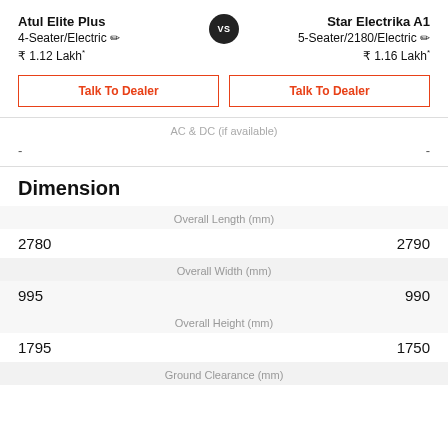Atul Elite Plus 4-Seater/Electric ₹ 1.12 Lakh*
Star Electrika A1 5-Seater/2180/Electric ₹ 1.16 Lakh*
Talk To Dealer
Talk To Dealer
AC & DC (if available)
- -
Dimension
| Left | Spec | Right |
| --- | --- | --- |
| 2780 | Overall Length (mm) | 2790 |
| 995 | Overall Width (mm) | 990 |
| 1795 | Overall Height (mm) | 1750 |
|  | Ground Clearance (mm) |  |